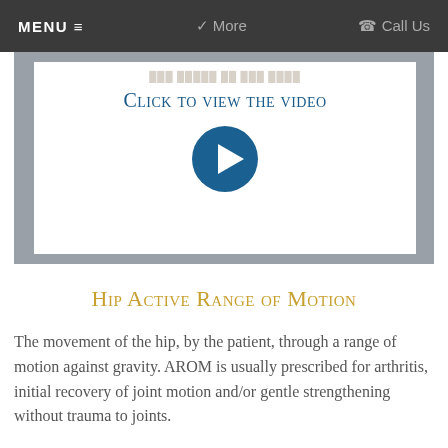MENU ≡   ❯ More   ✆ Call Us
[Figure (screenshot): Video thumbnail with 'Click to view the video' text and a circular play button on a white background, surrounded by a grey border frame.]
Hip Active Range of Motion
The movement of the hip, by the patient, through a range of motion against gravity. AROM is usually prescribed for arthritis, initial recovery of joint motion and/or gentle strengthening without trauma to joints.